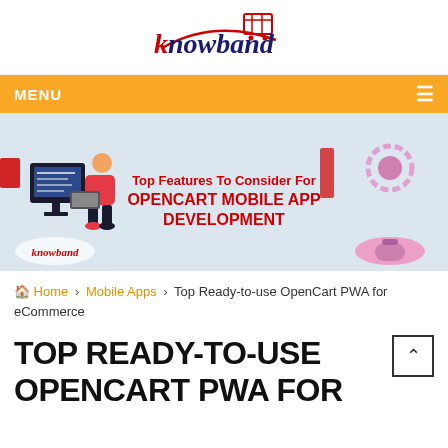[Figure (logo): Knowband logo with shopping cart icon and red/navy text]
MENU ≡
[Figure (illustration): Banner image: Top Features To Consider For OPENCART MOBILE APP DEVELOPMENT, with a person at desk and mobile/gear icons]
🏠 Home > Mobile Apps > Top Ready-to-use OpenCart PWA for eCommerce
TOP READY-TO-USE OPENCART PWA FOR